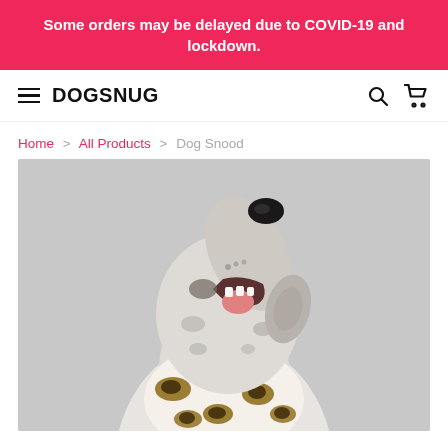Some orders may be delayed due to COVID-19 and lockdown.
DOGSNUG
Home > All Products > Dog Snood
[Figure (photo): A Dalmatian dog wearing a leopard-print snood, head tilted upward with mouth open, photographed against a light grey background.]